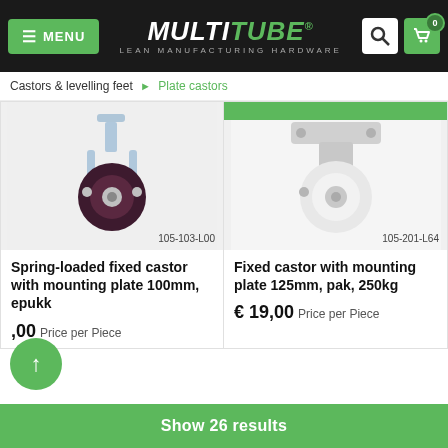MULTITUBE® LEAN MANUFACTURING HARDWARE
Castors & levelling feet ▶ Plate castors
[Figure (photo): Spring-loaded fixed castor with mounting plate, dark wheel, code 105-103-L00]
105-103-L00
Spring-loaded fixed castor with mounting plate 100mm, epukk
€ ,00  Price per Piece
[Figure (photo): Fixed castor with mounting plate, white/grey wheel, code 105-201-L64]
105-201-L64
Fixed castor with mounting plate 125mm, pak, 250kg
€ 19,00  Price per Piece
Show 26 results